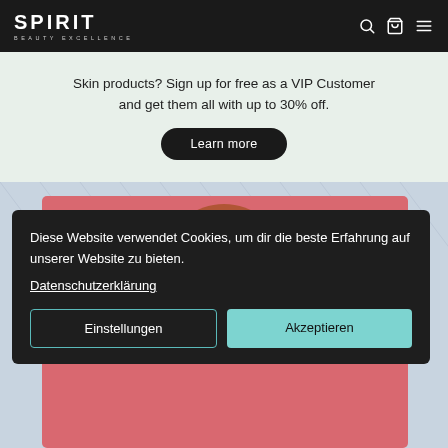SPIRIT BEAUTY EXCELLENCE
Skin products? Sign up for free as a VIP Customer and get them all with up to 30% off.
Learn more
[Figure (photo): Person with brown hair partially visible behind a pink background, shown from head upward, with blue/grey patterned background]
Diese Website verwendet Cookies, um dir die beste Erfahrung auf unserer Website zu bieten.
Datenschutzerklärung
Einstellungen
Akzeptieren